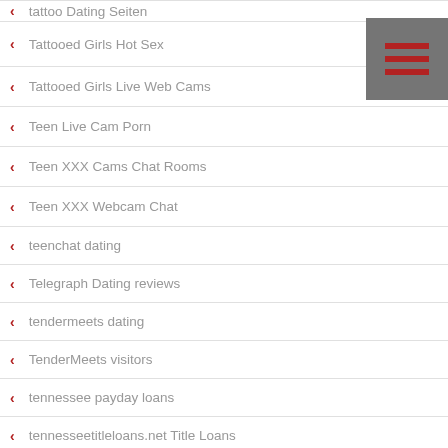tattoo Dating Seiten
Tattooed Girls Hot Sex
Tattooed Girls Live Web Cams
Teen Live Cam Porn
Teen XXX Cams Chat Rooms
Teen XXX Webcam Chat
teenchat dating
Telegraph Dating reviews
tendermeets dating
TenderMeets visitors
tennessee payday loans
tennesseetitleloans.net Title Loans
tennesseetitleloans.org Title Loans